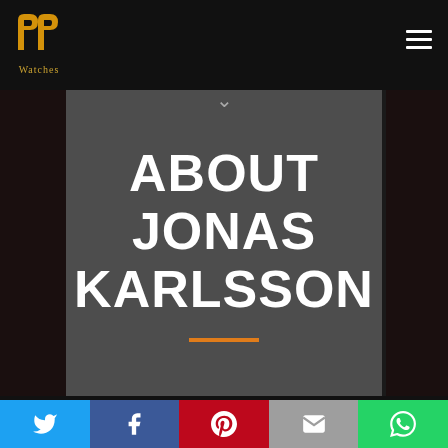[Figure (logo): PP Watches logo — two stylized golden P letters and text 'Watches' below]
ABOUT JONAS KARLSSON
[Figure (infographic): Social share bar with Twitter, Facebook, Pinterest, Email, and WhatsApp buttons]